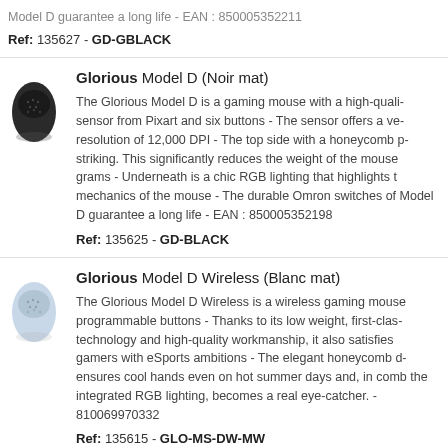Model D guarantee a long life - EAN : 850005352211
Ref: 135627 - GD-GBLACK
Glorious Model D (Noir mat)
The Glorious Model D is a gaming mouse with a high-quality sensor from Pixart and six buttons - The sensor offers a very high resolution of 12,000 DPI - The top side with a honeycomb pattern is striking. This significantly reduces the weight of the mouse to 68 grams - Underneath is a chic RGB lighting that highlights the mechanics of the mouse - The durable Omron switches of the Glorious Model D guarantee a long life - EAN : 850005352198
Ref: 135625 - GD-BLACK
Glorious Model D Wireless (Blanc mat)
The Glorious Model D Wireless is a wireless gaming mouse with programmable buttons - Thanks to its low weight, first-class technology and high-quality workmanship, it also satisfies gamers with eSports ambitions - The elegant honeycomb design ensures cool hands even on hot summer days and, in combination with the integrated RGB lighting, becomes a real eye-catcher. - EAN : 810069970332
Ref: 135615 - GLO-MS-DW-MW